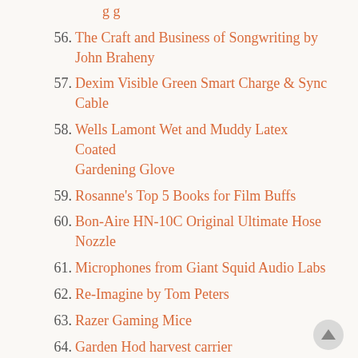56. The Craft and Business of Songwriting by John Braheny
57. Dexim Visible Green Smart Charge & Sync Cable
58. Wells Lamont Wet and Muddy Latex Coated Gardening Glove
59. Rosanne's Top 5 Books for Film Buffs
60. Bon-Aire HN-10C Original Ultimate Hose Nozzle
61. Microphones from Giant Squid Audio Labs
62. Re-Imagine by Tom Peters
63. Razer Gaming Mice
64. Garden Hod harvest carrier
65. Nest Learning Thermostat
66. Aha! 10 Ways to Free Your Creative Spirit and Find Your Great Ideas
67. Yes, You Can! And Freeze and Dry It, Too: